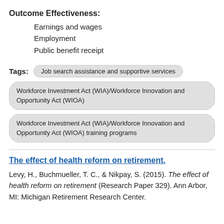Outcome Effectiveness:
Earnings and wages
Employment
Public benefit receipt
Tags:  Job search assistance and supportive services
Workforce Investment Act (WIA)/Workforce Innovation and Opportunity Act (WIOA)
Workforce Investment Act (WIA)/Workforce Innovation and Opportunity Act (WIOA) training programs
The effect of health reform on retirement.
Levy, H., Buchmueller, T. C., & Nikpay, S. (2015). The effect of health reform on retirement (Research Paper 329). Ann Arbor, MI: Michigan Retirement Research Center.